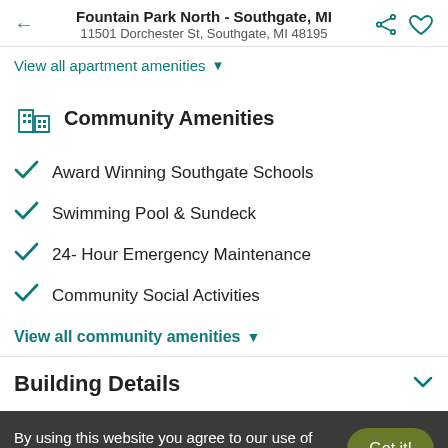Fountain Park North - Southgate, MI
11501 Dorchester St, Southgate, MI 48195
View all apartment amenities ▾
Community Amenities
Award Winning Southgate Schools
Swimming Pool & Sundeck
24- Hour Emergency Maintenance
Community Social Activities
View all community amenities ▾
Building Details
By using this website you agree to our use of cookies as described in our cookie policy.